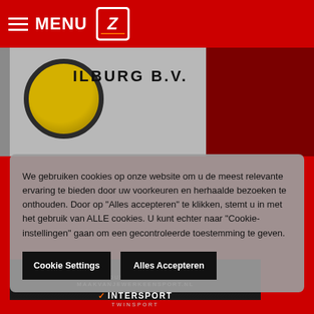MENU
[Figure (screenshot): Tilburg B.V. sign with gold circle logo on grey background]
We gebruiken cookies op onze website om u de meest relevante ervaring te bieden door uw voorkeuren en herhaalde bezoeken te onthouden. Door op "Alles accepteren" te klikken, stemt u in met het gebruik van ALLE cookies. U kunt echter naar "Cookie-instellingen" gaan om een gecontroleerde toestemming te geven.
Cookie Settings
Alles Accepteren
[Figure (screenshot): Intersport Twinsport advertisement banner: SCOOR JOUW NIEUWE BAAN OP MAAKVANJEWERKEENSPORT.NL with shoes in background]